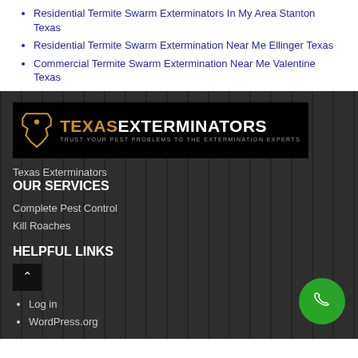Residential Termite Swarm Exterminators In My Area Stanton Texas
Residential Termite Swarm Extermination Near Me Ellinger Texas
Commercial Termite Swarm Extermination Near Me Valentine Texas
[Figure (logo): Texas Exterminators logo — Texas state outline in gold, TEXAS in gold bold text, EXTERMINATORS in white bold text, tagline: TRUST YOUR PEST PROBLEMS TO THE EXTERMINATION EXPERTS]
Texas Exterminators
OUR SERVICES
Complete Pest Control
Kill Roaches
HELPFUL LINKS
Log in
WordPress.org